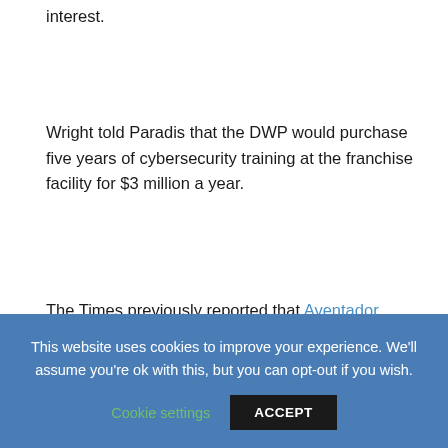interest.
Wright told Paradis that the DWP would purchase five years of cybersecurity training at the franchise facility for $3 million a year.
The Times previously reported that Aventador planned to operate a company focused on cybersecurity in downtown Los Angeles, according to a March 2019 proposal for a contract Aventador sought with the Southern California Public Power Authority, whose members include a dozen utilities.
This website uses cookies to improve your experience. We'll assume you're ok with this, but you can opt-out if you wish.
Cookie settings   ACCEPT